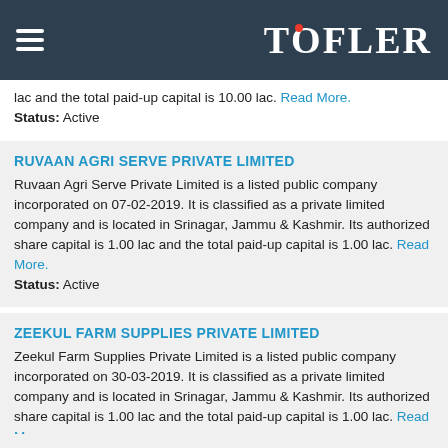TOFLER
lac and the total paid-up capital is 10.00 lac. Read More.
Status: Active
RUVAAN AGRI SERVE PRIVATE LIMITED
Ruvaan Agri Serve Private Limited is a listed public company incorporated on 07-02-2019. It is classified as a private limited company and is located in Srinagar, Jammu & Kashmir. Its authorized share capital is 1.00 lac and the total paid-up capital is 1.00 lac. Read More.
Status: Active
ZEEKUL FARM SUPPLIES PRIVATE LIMITED
Zeekul Farm Supplies Private Limited is a listed public company incorporated on 30-03-2019. It is classified as a private limited company and is located in Srinagar, Jammu & Kashmir. Its authorized share capital is 1.00 lac and the total paid-up capital is 1.00 lac. Read More.
Status: Active